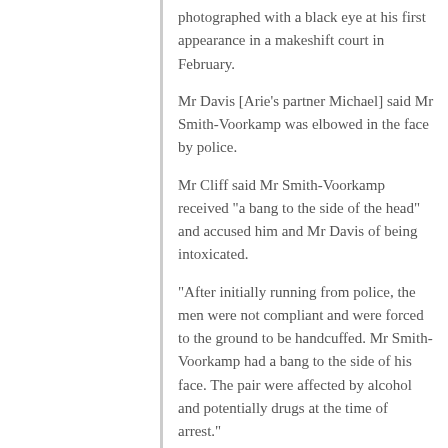photographed with a black eye at his first appearance in a makeshift court in February.
Mr Davis [Arie's partner Michael] said Mr Smith-Voorkamp was elbowed in the face by police.
Mr Cliff said Mr Smith-Voorkamp received "a bang to the side of the head" and accused him and Mr Davis of being intoxicated.
"After initially running from police, the men were not compliant and were forced to the ground to be handcuffed. Mr Smith-Voorkamp had a bang to the side of his face. The pair were affected by alcohol and potentially drugs at the time of arrest."
Mr Cliff said it would have been inappropriate to give Mr Smith-Voorkamp diversion as he did not accept responsibility for his actions due to his defence of mental impairment.
"It is inappropriate to use Diversion as a tool for dealing with people who may have a defence to the charge."